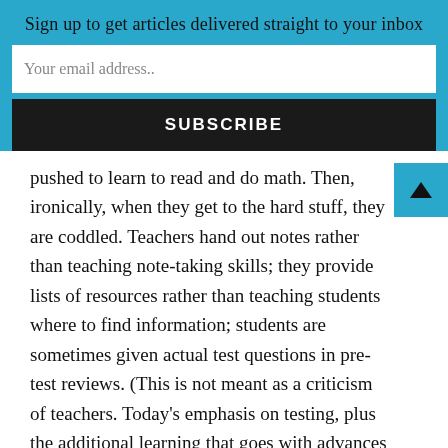Sign up to get articles delivered straight to your inbox
Your email address..
SUBSCRIBE
pushed to learn to read and do math. Then, ironically, when they get to the hard stuff, they are coddled. Teachers hand out notes rather than teaching note-taking skills; they provide lists of resources rather than teaching students where to find information; students are sometimes given actual test questions in pre-test reviews. (This is not meant as a criticism of teachers. Today's emphasis on testing, plus the additional learning that goes with advances in technology, leaves no time to teach these skills.) As interaction between teaching professionals is often limited to others who work with the same age level,